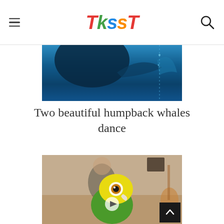TKSST
[Figure (photo): Underwater photograph of two humpback whales swimming in deep blue ocean water]
Two beautiful humpback whales dance
[Figure (photo): Close-up of a yellow and green parrot in the foreground with a man playing guitar blurred in the background; a play button icon is overlaid on the image]